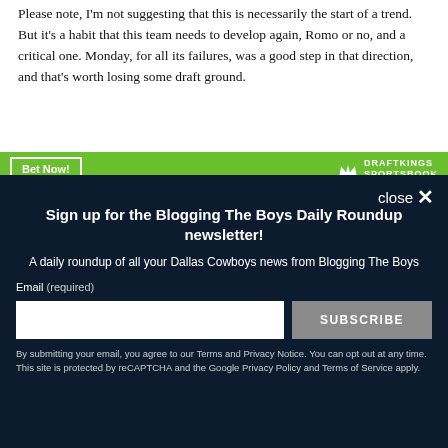Please note, I'm not suggesting that this is necessarily the start of a trend. But it's a habit that this team needs to develop again, Romo or no, and a critical one. Monday, for all its failures, was a good step in that direction, and that's worth losing some draft ground.
[Figure (infographic): DraftKings Sportsbook advertisement banner with green background, 'Bet Now!' button on left and DraftKings logo on right]
[Figure (infographic): Newsletter signup modal overlay with dark navy background. Header: 'Sign up for the Blogging The Boys Daily Roundup newsletter!' Subtitle: 'A daily roundup of all your Dallas Cowboys news from Blogging The Boys'. Email input field and SUBSCRIBE button. Footer disclaimer about Terms and Privacy Notice and reCAPTCHA.]